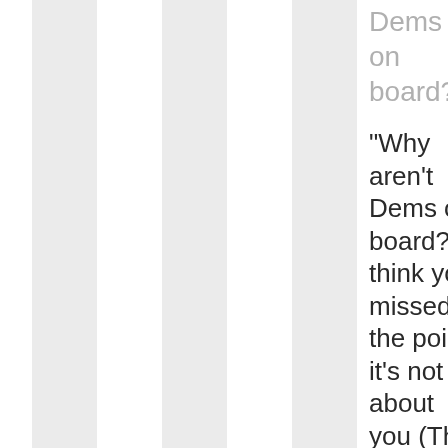Dems on board?
“Why aren't Dems on board?” I think you missed the point: it's not about you (This Dem isn't on board..., I don't care to hear someone,